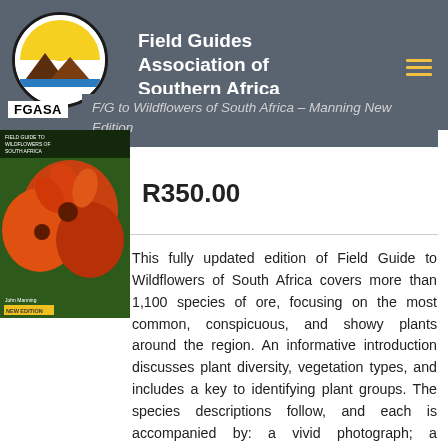Field Guides Association of Southern Africa
F/G to Wildflowers of South Africa – Manning New Edition
[Figure (photo): Book cover of Field Guide to Wildflowers of South Africa, showing orange wildflowers]
R350.00
This fully updated edition of Field Guide to Wildflowers of South Africa covers more than 1,100 species of ore, focusing on the most common, conspicuous, and showy plants around the region. An informative introduction discusses plant diversity, vegetation types, and includes a key to identifying plant groups. The species descriptions follow, and each is accompanied by: a vivid photograph; a distribution map showing range, and an